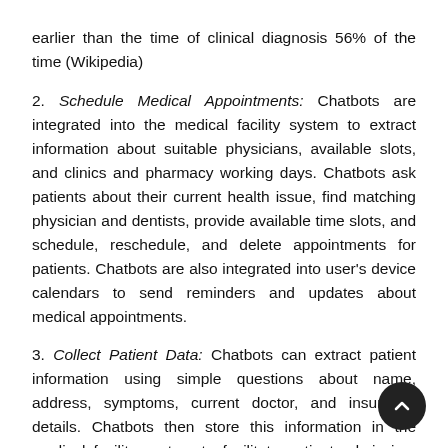earlier than the time of clinical diagnosis 56% of the time (Wikipedia)
2. Schedule Medical Appointments: Chatbots are integrated into the medical facility system to extract information about suitable physicians, available slots, and clinics and pharmacy working days. Chatbots ask patients about their current health issue, find matching physician and dentists, provide available time slots, and schedule, reschedule, and delete appointments for patients. Chatbots are also integrated into user's device calendars to send reminders and updates about medical appointments.
3. Collect Patient Data: Chatbots can extract patient information using simple questions about name, address, symptoms, current doctor, and insurance details. Chatbots then store this information in the medical facility system to facilitate patient admission, symptom tracking, doctor-patient communication, and more.